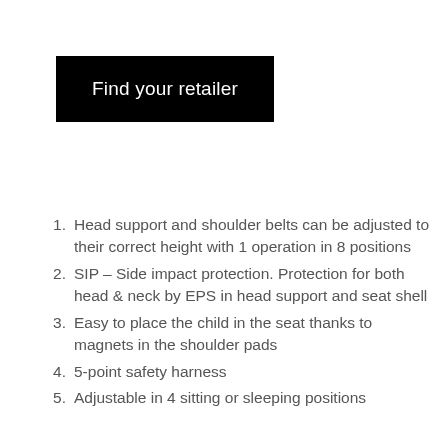[Figure (other): Black button/banner with white text reading 'Find your retailer']
Head support and shoulder belts can be adjusted to their correct height with 1 operation in 8 positions
SIP – Side impact protection. Protection for both head & neck by EPS in head support and seat shell
Easy to place the child in the seat thanks to magnets in the shoulder pads
5-point safety harness
Adjustable in 4 sitting or sleeping positions